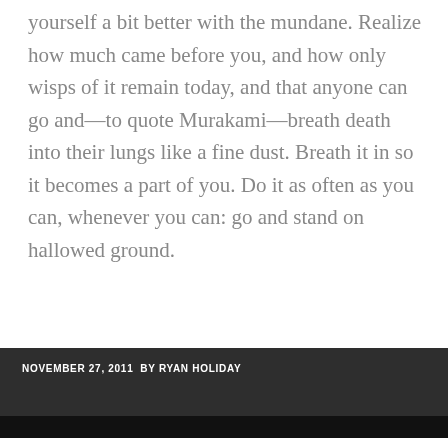yourself a bit better with the mundane. Realize how much came before you, and how only wisps of it remain today, and that anyone can go and—to quote Murakami—breath death into their lungs like a fine dust. Breath it in so it becomes a part of you. Do it as often as you can, whenever you can: go and stand on hallowed ground.
NOVEMBER 27, 2011  BY RYAN HOLIDAY